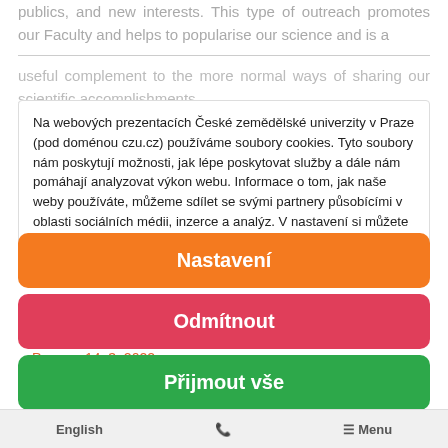publics, and new interests. This type of outreach promotes our Faculty and helps to popularise our science and is a
useful complement to the more normal ways of sharing our scientific accomplishments.
With this I would like to thank everyone, staff and students of the Faculty, for their continued support and trust. I am pretty sure that we will continue to deliver on Prague's promise of talent and innovation in 2022.
Na webových prezentacích České zemědělské univerzity v Praze (pod doménou czu.cz) používáme soubory cookies. Tyto soubory nám poskytují možnosti, jak lépe poskytovat služby a dále nám pomáhají analyzovat výkon webu. Informace o tom, jak naše weby používáte, můžeme sdílet se svými partnery působícími v oblasti sociálních médii, inzerce a analýz. V nastavení si můžete následně vybrat, které cookies můžeme používat. Svůj udělený souhlas, můžete kdykoliv změnit či odvolat.
Prague, 14. 3. 2022
Nastavení
Odmítnout
Přijmout vše
English  |  Menu